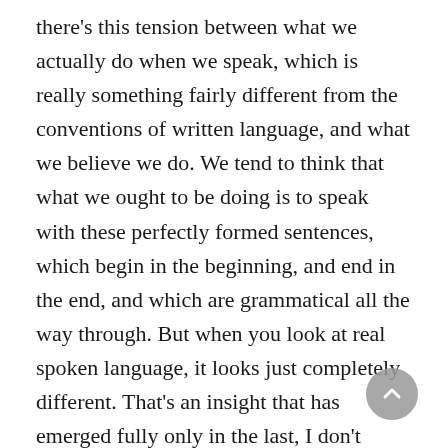there's this tension between what we actually do when we speak, which is really something fairly different from the conventions of written language, and what we believe we do. We tend to think that what we ought to be doing is to speak with these perfectly formed sentences, which begin in the beginning, and end in the end, and which are grammatical all the way through. But when you look at real spoken language, it looks just completely different. That's an insight that has emerged fully only in the last, I don't know, twenty years, where linguists have started collecting these massive corpora of actual spoken language, and finally decided that it's worthwhile to look at language as it is actually spoken. This is when they discovered that things in spoken